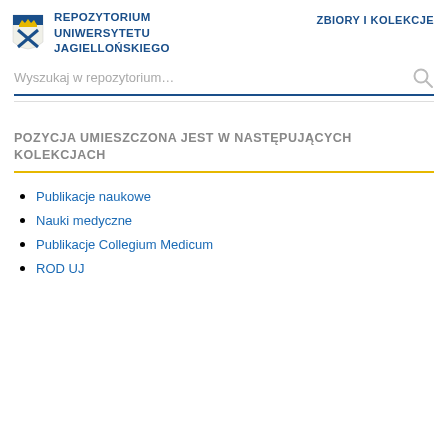REPOZYTORIUM UNIWERSYTETU JAGIELLOŃSKIEGO
ZBIORY I KOLEKCJE
POZYCJA UMIESZCZONA JEST W NASTĘPUJĄCYCH KOLEKCJACH
Publikacje naukowe
Nauki medyczne
Publikacje Collegium Medicum
ROD UJ